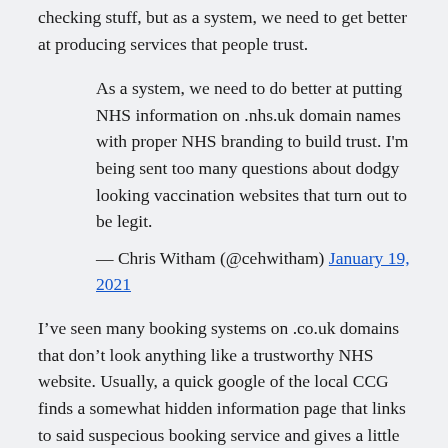checking stuff, but as a system, we need to get better at producing services that people trust.
As a system, we need to do better at putting NHS information on .nhs.uk domain names with proper NHS branding to build trust. I'm being sent too many questions about dodgy looking vaccination websites that turn out to be legit.
— Chris Witham (@cehwitham) January 19, 2021
I've seen many booking systems on .co.uk domains that don't look anything like a trustworthy NHS website. Usually, a quick google of the local CCG finds a somewhat hidden information page that links to said suspecious booking service and gives a little credibility.
My team have built and support an Open Source WordPress theme that makes it really easy for NHS organisations to setup a professional website that meets